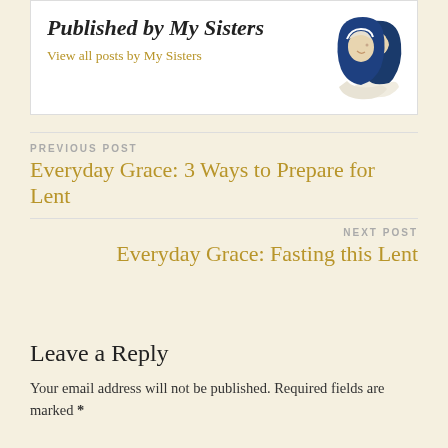Published by My Sisters
View all posts by My Sisters
[Figure (illustration): Stylized illustration of two nuns in blue habits, profile view]
PREVIOUS POST
Everyday Grace: 3 Ways to Prepare for Lent
NEXT POST
Everyday Grace: Fasting this Lent
Leave a Reply
Your email address will not be published. Required fields are marked *